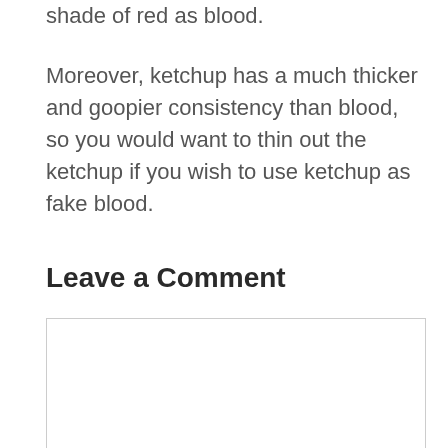Ketchup is red, but ketchup is not the same shade of red as blood.
Moreover, ketchup has a much thicker and goopier consistency than blood, so you would want to thin out the ketchup if you wish to use ketchup as fake blood.
Leave a Comment